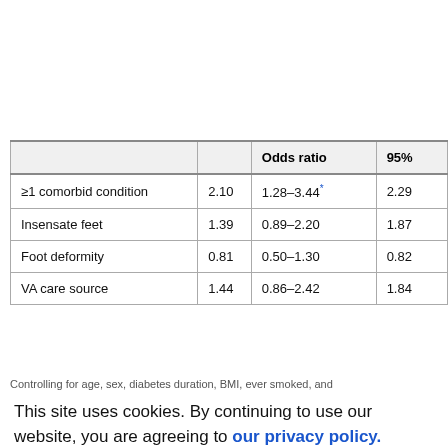|  |  | Odds ratio | 95% |
| --- | --- | --- | --- |
| ≥1 comorbid condition | 2.10 | 1.28–3.44* | 2.29 |
| Insensate feet | 1.39 | 0.89–2.20 | 1.87 |
| Foot deformity | 0.81 | 0.50–1.30 | 0.82 |
| VA care source | 1.44 | 0.86–2.42 | 1.84 |
Controlling for age, sex, diabetes duration, BMI, ever smoked, and
This site uses cookies. By continuing to use our website, you are agreeing to our privacy policy. Accept